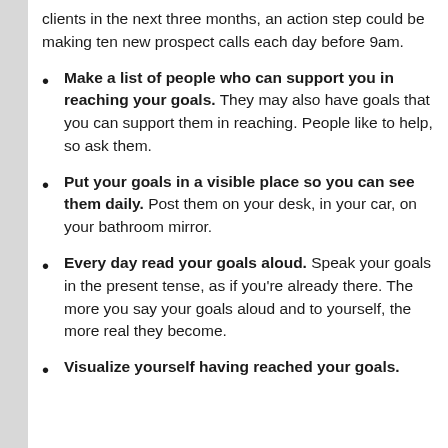clients in the next three months, an action step could be making ten new prospect calls each day before 9am.
Make a list of people who can support you in reaching your goals. They may also have goals that you can support them in reaching. People like to help, so ask them.
Put your goals in a visible place so you can see them daily. Post them on your desk, in your car, on your bathroom mirror.
Every day read your goals aloud. Speak your goals in the present tense, as if you're already there. The more you say your goals aloud and to yourself, the more real they become.
Visualize yourself having reached your goals.